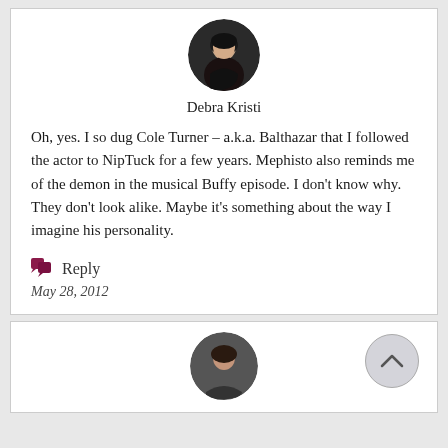[Figure (photo): Circular avatar photo of Debra Kristi, a woman with light hair]
Debra Kristi
Oh, yes. I so dug Cole Turner – a.k.a. Balthazar that I followed the actor to NipTuck for a few years. Mephisto also reminds me of the demon in the musical Buffy episode. I don't know why. They don't look alike. Maybe it's something about the way I imagine his personality.
Reply
May 28, 2012
[Figure (photo): Circular avatar photo of a woman with dark hair, partially visible in the second comment card]